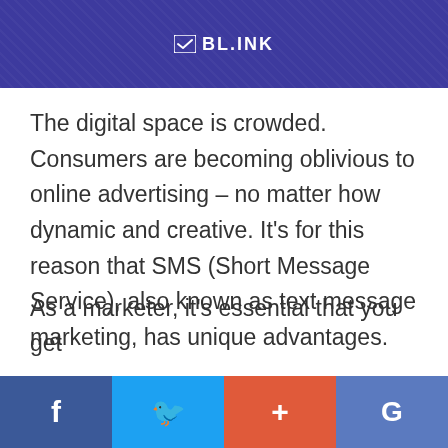[Figure (logo): BL.INK logo with checkmark icon on dark blue/indigo banner background]
The digital space is crowded. Consumers are becoming oblivious to online advertising – no matter how dynamic and creative. It's for this reason that SMS (Short Message Service), also known as text message marketing, has unique advantages.
As a marketer, it's essential that you get
Facebook | Twitter | + | Google social share buttons